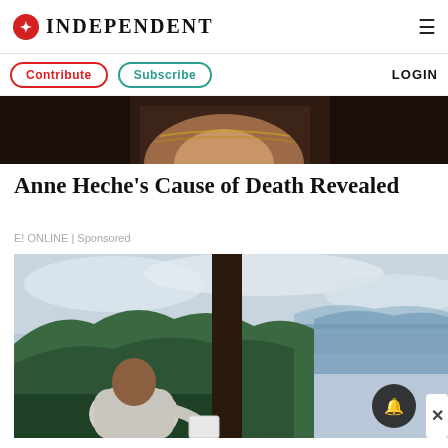INDEPENDENT
[Figure (screenshot): Independent newspaper website navigation bar with logo, Contribute button, Subscribe button, and LOGIN link]
[Figure (photo): Partial image of a woman with jewelry visible at top of page, cropped]
Anne Heche's Cause of Death Revealed
E! ONLINE | Sponsored
[Figure (photo): Man sitting on a terrace/balcony with a tablet, looking at a lush green mountain landscape with ocean in the background]